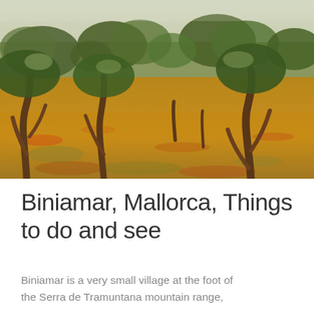[Figure (photo): Photograph of an olive grove in Mallorca with ancient gnarled olive trees, golden and orange fallen leaves covering rocky ground, and stone walls in the background under a bright sky.]
Biniamar, Mallorca, Things to do and see
Biniamar is a very small village at the foot of the Serra de Tramuntana mountain range,